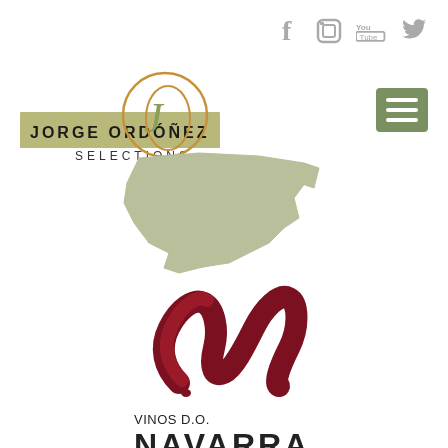[Figure (logo): Social media icons: Facebook, Instagram, YouTube, Twitter in gray]
[Figure (logo): Jorge Ordóñez Selections logo with decorative JO monogram and text on olive/tan background]
[Figure (map): Silhouette map of the Navarra wine region in olive/sage green]
[Figure (logo): Vinos D.O. Navarra logo with dark red brushstroke N shape]
VINOS D.O. NAVARRA